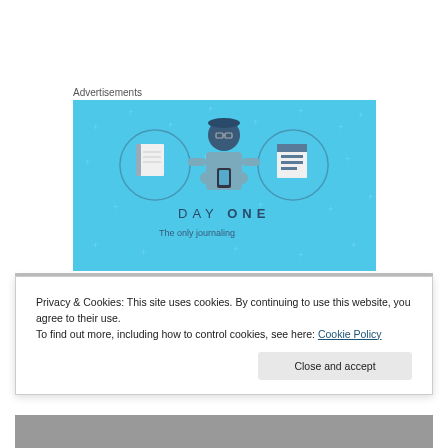Advertisements
[Figure (illustration): Day One app advertisement on a light blue background showing a cartoon person holding a phone flanked by two notebook icons in circles, with text 'DAY ONE' and 'The only journaling']
Privacy & Cookies: This site uses cookies. By continuing to use this website, you agree to their use.
To find out more, including how to control cookies, see here: Cookie Policy
Close and accept